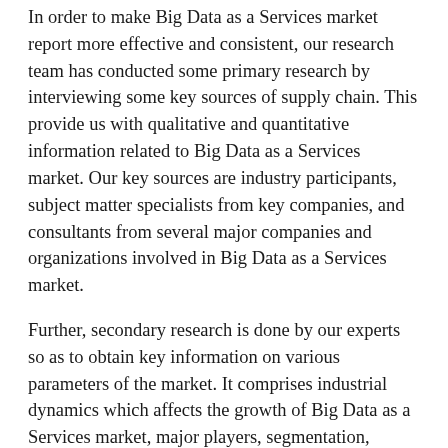In order to make Big Data as a Services market report more effective and consistent, our research team has conducted some primary research by interviewing some key sources of supply chain. This provide us with qualitative and quantitative information related to Big Data as a Services market. Our key sources are industry participants, subject matter specialists from key companies, and consultants from several major companies and organizations involved in Big Data as a Services market.
Further, secondary research is done by our experts so as to obtain key information on various parameters of the market. It comprises industrial dynamics which affects the growth of Big Data as a Services market, major players, segmentation, SWOT analysis, value chain analysis, along with some major changes in the market in terms of new policy, technological advancements, some mergers or acquisitions of major players, etc. Secondary data was collected and analyzed to reach the total market size, which